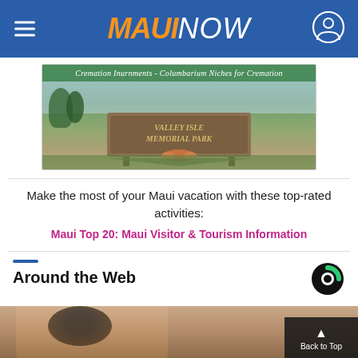MAUI NOW
[Figure (photo): Valley Isle Memorial Park advertisement banner with green header bar reading 'Cremation Inurnments - Columbarium Niches for Cremation' and photo of stone park entrance sign with flowers]
Make the most of your Maui vacation with these top-rated activities:
Maui Top 20: Maui Visitor & Tourism Information
Around the Web
[Figure (photo): Partial photo of a woman's face, bottom portion of page]